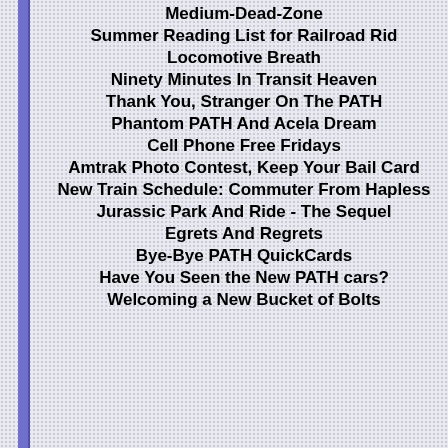Medium-Dead-Zone
Summer Reading List for Railroad Rid
Locomotive Breath
Ninety Minutes In Transit Heaven
Thank You, Stranger On The PATH
Phantom PATH And Acela Dream
Cell Phone Free Fridays
Amtrak Photo Contest, Keep Your Bail Card
New Train Schedule: Commuter From Hapless
Jurassic Park And Ride - The Sequel
Egrets And Regrets
Bye-Bye PATH QuickCards
Have You Seen the New PATH cars?
Welcoming a New Bucket of Bolts